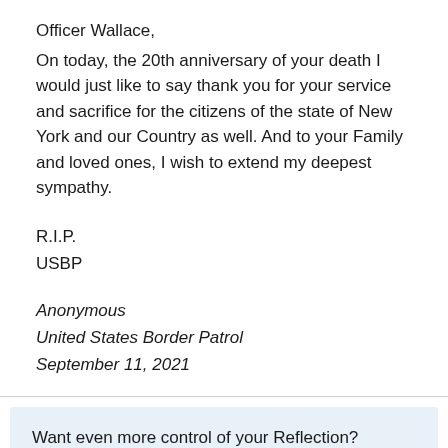Officer Wallace,
On today, the 20th anniversary of your death I would just like to say thank you for your service and sacrifice for the citizens of the state of New York and our Country as well. And to your Family and loved ones, I wish to extend my deepest sympathy.
R.I.P.
USBP
Anonymous
United States Border Patrol
September 11, 2021
Want even more control of your Reflection? Create a free ODMP account now for these benefits: